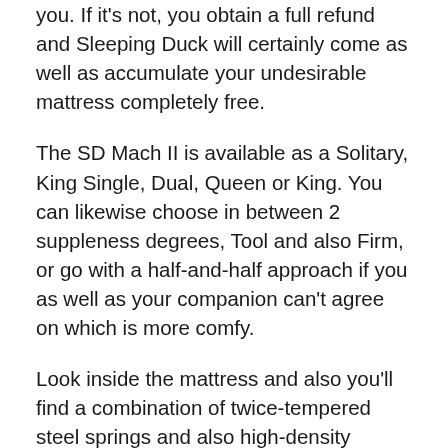you. If it's not, you obtain a full refund and Sleeping Duck will certainly come as well as accumulate your undesirable mattress completely free.
The SD Mach II is available as a Solitary, King Single, Dual, Queen or King. You can likewise choose in between 2 suppleness degrees, Tool and also Firm, or go with a half-and-half approach if you as well as your companion can't agree on which is more comfy.
Look inside the mattress and also you'll find a combination of twice-tempered steel springs and also high-density polyurethane foam. Strengthened perimeter support maximises the available sleeping area, and also the Sleeping Duck's BreatheTech